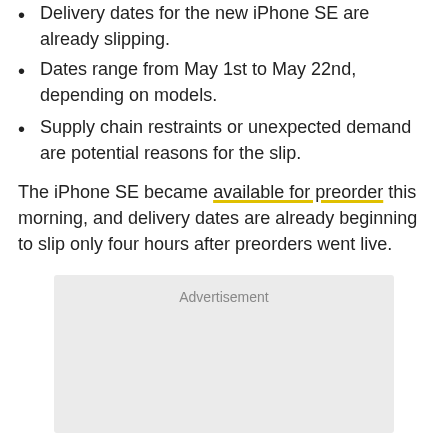Delivery dates for the new iPhone SE are already slipping.
Dates range from May 1st to May 22nd, depending on models.
Supply chain restraints or unexpected demand are potential reasons for the slip.
The iPhone SE became available for preorder this morning, and delivery dates are already beginning to slip only four hours after preorders went live.
[Figure (other): Advertisement placeholder box with light grey background and 'Advertisement' label at top center.]